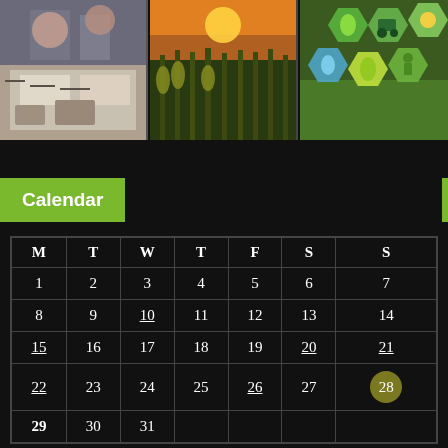[Figure (photo): Three agricultural/educational photos side by side: left shows people working on documents at a table, center shows a corn field at sunset, right shows smart agriculture icons overlaid on a green field.]
Calendar
| M | T | W | T | F | S | S |
| --- | --- | --- | --- | --- | --- | --- |
| 1 | 2 | 3 | 4 | 5 | 6 | 7 |
| 8 | 9 | 10 | 11 | 12 | 13 | 14 |
| 15 | 16 | 17 | 18 | 19 | 20 | 21 |
| 22 | 23 | 24 | 25 | 26 | 27 | 28 |
| 29 | 30 | 31 |  |  |  |  |